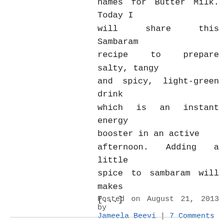names for Butter Milk. Today I will share this Sambaram recipe to prepare salty, tangy and spicy, light-green drink which is an instant energy booster in an active afternoon. Adding a little spice to sambaram will makes [...]
Posted on August 21, 2013 by Jameela Beevi | 7 Comments
Malabar special – Pazham Nirachathu / Stuffed Ba...